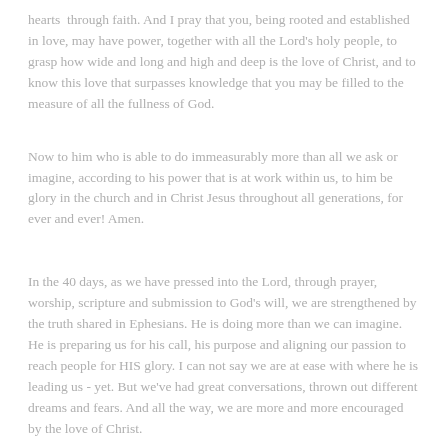hearts through faith. And I pray that you, being rooted and established in love, may have power, together with all the Lord's holy people, to grasp how wide and long and high and deep is the love of Christ, and to know this love that surpasses knowledge that you may be filled to the measure of all the fullness of God.
Now to him who is able to do immeasurably more than all we ask or imagine, according to his power that is at work within us, to him be glory in the church and in Christ Jesus throughout all generations, for ever and ever! Amen.
In the 40 days, as we have pressed into the Lord, through prayer, worship, scripture and submission to God's will, we are strengthened by the truth shared in Ephesians. He is doing more than we can imagine. He is preparing us for his call, his purpose and aligning our passion to reach people for HIS glory. I can not say we are at ease with where he is leading us - yet. But we've had great conversations, thrown out different dreams and fears. And all the way, we are more and more encouraged by the love of Christ.